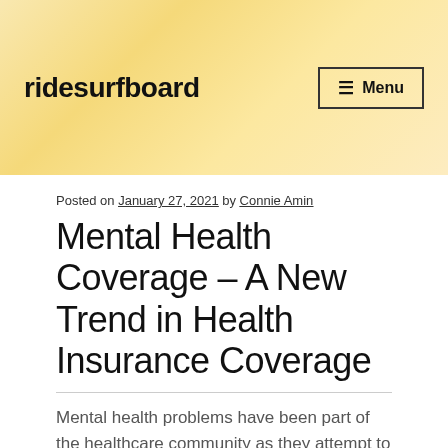ridesurfboard
Posted on January 27, 2021 by Connie Amin
Mental Health Coverage – A New Trend in Health Insurance Coverage
Mental health problems have been part of the healthcare community as they attempt to treat sufferers and find the mental health care that's necessary.